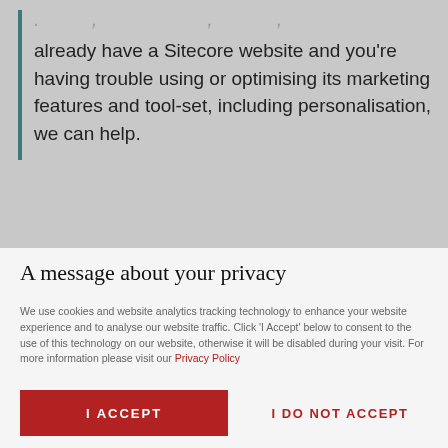[Figure (logo): Codehouse logo with red node/network icon and CODEHOUSE text, plus hamburger menu circle icon top right]
already have a Sitecore website and you're having trouble using or optimising its marketing features and tool-set, including personalisation, we can help.
A message about your privacy
We use cookies and website analytics tracking technology to enhance your website experience and to analyse our website traffic. Click 'I Accept' below to consent to the use of this technology on our website, otherwise it will be disabled during your visit. For more information please visit our Privacy Policy
I ACCEPT
I DO NOT ACCEPT